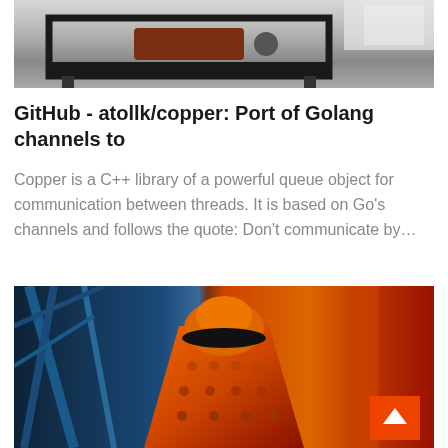[Figure (photo): Industrial machine equipment on a gray background, partial view of a metal frame structure]
GitHub - atollk/copper: Port of Golang channels to
Copper is a C++ library of a powerful queue object for communication between threads. It is based on Go's channels and follows the quote: Don't communicate by…
[Figure (photo): Large orange industrial cone crusher machine with blue steel frame structure in background, with orange scroll-to-top button in bottom right corner]